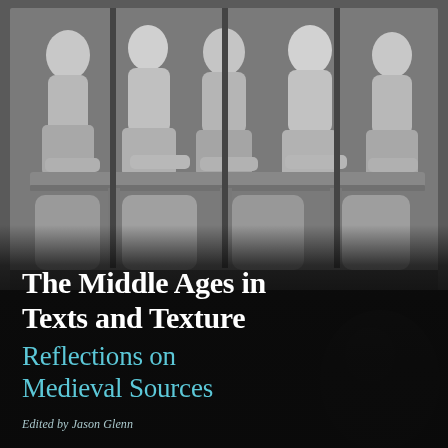[Figure (photo): Black and white photograph of a medieval stone relief sculpture showing robed scholars or scribes seated at a long desk, writing or reading, rendered in grayscale]
The Middle Ages in Texts and Texture
Reflections on Medieval Sources
Edited by Jason Glenn